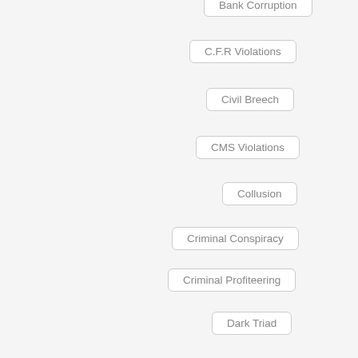Bank Corruption
C.F.R Violations
Civil Breech
CMS Violations
Collusion
Criminal Conspiracy
Criminal Profiteering
Dark Triad
Defalcation
Elder Abuse
Elder Exploitation
Elder Exploitation Stories by State
Embezzlement